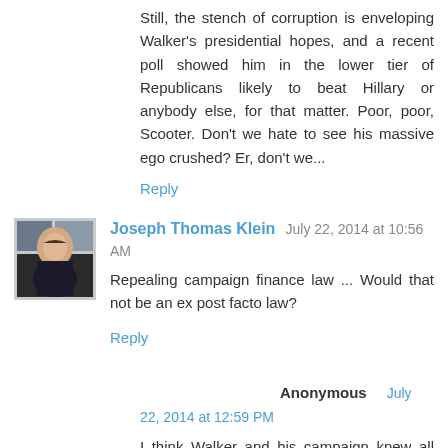Still, the stench of corruption is enveloping Walker's presidential hopes, and a recent poll showed him in the lower tier of Republicans likely to beat Hillary or anybody else, for that matter. Poor, poor, Scooter. Don't we hate to see his massive ego crushed? Er, don't we...
Reply
Joseph Thomas Klein  July 22, 2014 at 10:56 AM
Repealing campaign finance law ... Would that not be an ex post facto law?
Reply
Anonymous  July 22, 2014 at 12:59 PM
I think Walker and his campaign knew all along that what they were doing was illegal. But they coordinated with groups who ideologically had an aversion to the established law.
Brendan Fischer at Center for Media & Democracy just